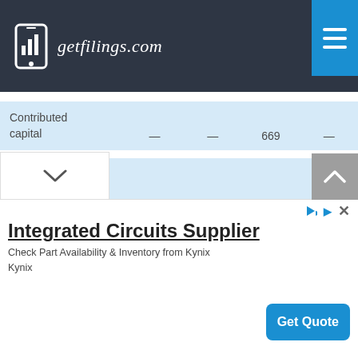[Figure (logo): getfilings.com logo with bar chart phone icon on dark navy background]
| Contributed capital | — | — | 669 | — |
| Office space contributed by an officer | — | — | 1,200 | — |
[Figure (infographic): Advertisement banner: Integrated Circuits Supplier - Check Part Availability & Inventory from Kynix. Get Quote button.]